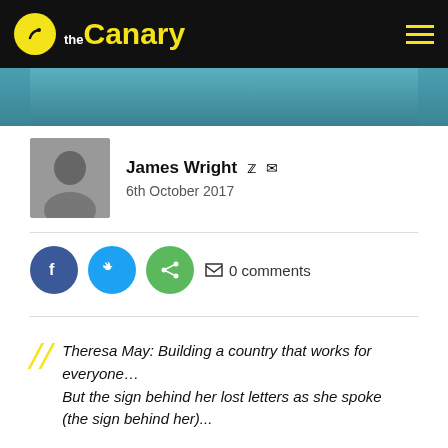the Canary
[Figure (photo): Partial hero image strip showing a teal/blue background scene]
James Wright  6th October 2017
0 comments
The Conservatives' new reason for Theresa May's humiliating speech would make Kim Jong-un blush. During the Prime Minister's flagship conference speech, letters gradually began falling from the slogan behind her. Eventually, 'Building a country that works for everyone' became:
Theresa May: Building a country that works for everyone…
But the sign behind her lost letters as she spoke (the sign behind her)...